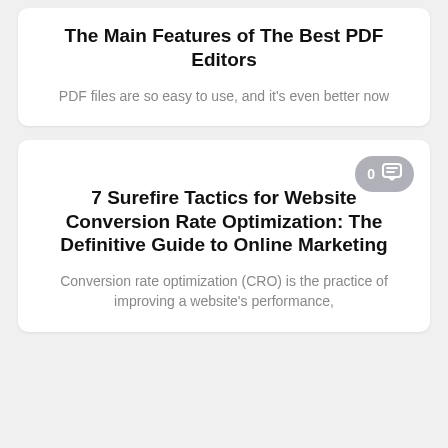The Main Features of The Best PDF Editors
PDF files are so easy to use, and it's even better now
7 Surefire Tactics for Website Conversion Rate Optimization: The Definitive Guide to Online Marketing
Conversion rate optimization (CRO) is the practice of improving a website's performance,